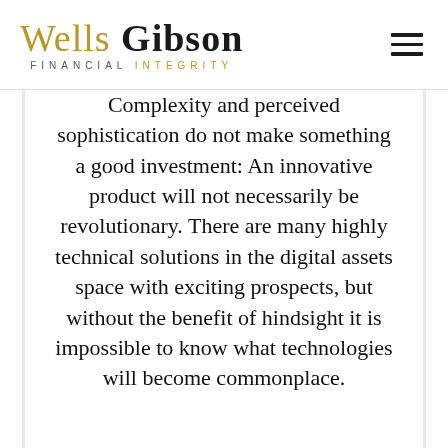Wells Gibson FINANCIAL INTEGRITY
Complexity and perceived sophistication do not make something a good investment: An innovative product will not necessarily be revolutionary. There are many highly technical solutions in the digital assets space with exciting prospects, but without the benefit of hindsight it is impossible to know what technologies will become commonplace.